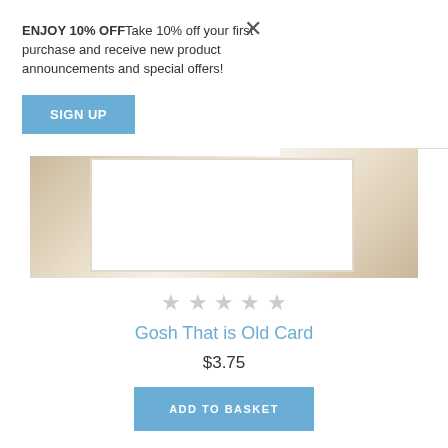ENJOY 10% OFFFTake 10% off your first purchase and receive new product announcements and special offers!
SIGN UP
[Figure (photo): Partial view of a greeting card with white and kraft paper layers on a light wooden surface]
★★★★★ (empty stars / no rating)
Gosh That is Old Card
$3.75
ADD TO BASKET